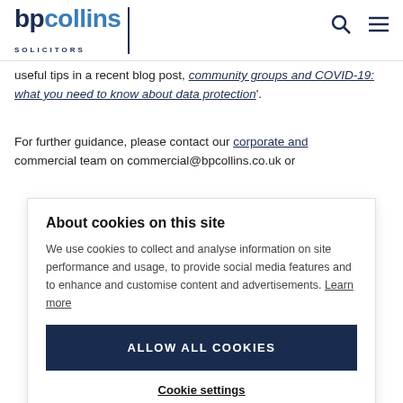bp collins SOLICITORS
useful tips in a recent blog post, 'community groups and COVID-19: what you need to know about data protection'.
For further guidance, please contact our corporate and commercial team on commercial@bpcollins.co.uk or
About cookies on this site
We use cookies to collect and analyse information on site performance and usage, to provide social media features and to enhance and customise content and advertisements. Learn more
ALLOW ALL COOKIES
Cookie settings